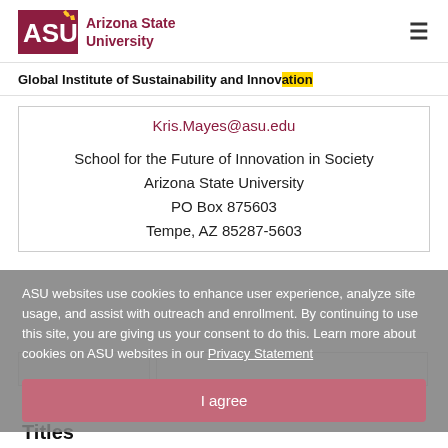Arizona State University
Global Institute of Sustainability and Innovation
Kris.Mayes@asu.edu
School for the Future of Innovation in Society
Arizona State University
PO Box 875603
Tempe, AZ 85287-5603
ASU websites use cookies to enhance user experience, analyze site usage, and assist with outreach and enrollment. By continuing to use this site, you are giving us your consent to do this. Learn more about cookies on ASU websites in our Privacy Statement
I agree
Titles